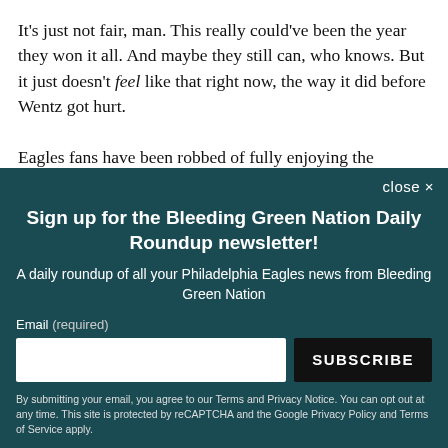It's just not fair, man. This really could've been the year they won it all. And maybe they still can, who knows. But it just doesn't feel like that right now, the way it did before Wentz got hurt.

Eagles fans have been robbed of fully enjoying the
close ×
Sign up for the Bleeding Green Nation Daily Roundup newsletter!
A daily roundup of all your Philadelphia Eagles news from Bleeding Green Nation
Email (required)
SUBSCRIBE
By submitting your email, you agree to our Terms and Privacy Notice. You can opt out at any time. This site is protected by reCAPTCHA and the Google Privacy Policy and Terms of Service apply.